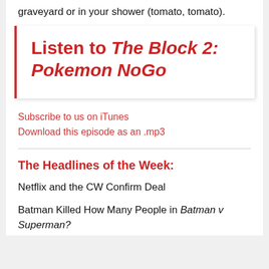graveyard or in your shower (tomato, tomato).
Listen to The Block 2: Pokemon NoGo
Subscribe to us on iTunes
Download this episode as an .mp3
The Headlines of the Week:
Netflix and the CW Confirm Deal
Batman Killed How Many People in Batman v Superman?